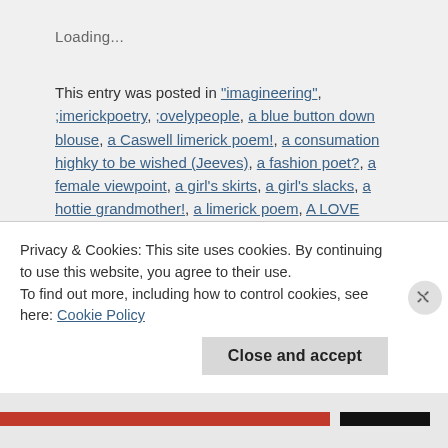Loading...
This entry was posted in "imagineering", ;imerickpoetry, ;ovelypeople, a blue button down blouse, a Caswell limerick poem!, a consumation highky to be wished (Jeeves), a fashion poet?, a female viewpoint, a girl's skirts, a girl's slacks, a hottie grandmother!, a limerick poem, A LOVE FOR WORDS, A LOVELY LADY, a marvelous woman, a mother's skirts, a pencil skirt, a renewed new nature, a repeated sales reminder!, a romantic, a special relationship with Father God, a spending factor, a
Privacy & Cookies: This site uses cookies. By continuing to use this website, you agree to their use.
To find out more, including how to control cookies, see here: Cookie Policy
Close and accept